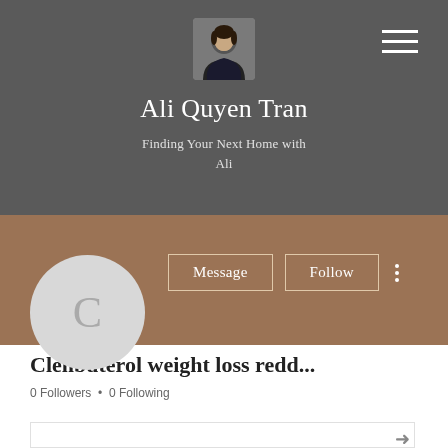[Figure (photo): Profile photo of Ali Quyen Tran, a woman in professional attire against a dark header background]
Ali Quyen Tran
Finding Your Next Home with Ali
[Figure (illustration): Circular avatar placeholder with letter C on brown/tan banner section]
Message
Follow
Clenbuterol weight loss redd...
0 Followers • 0 Following